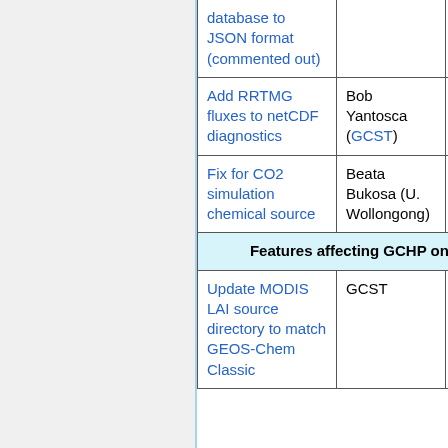| Feature | Author(s) | Type |
| --- | --- | --- |
| database to JSON format (commented out) |  |  |
| Add RRTMG fluxes to netCDF diagnostics | Bob Yantosca (GCST) | Structural |
| Fix for CO2 simulation chemical source | Beata Bukosa (U. Wollongong) | Bug fix |
| Features affecting GCHP onl |  |  |
| Update MODIS LAI source directory to match GEOS-Chem Classic | GCST | Bug fix |